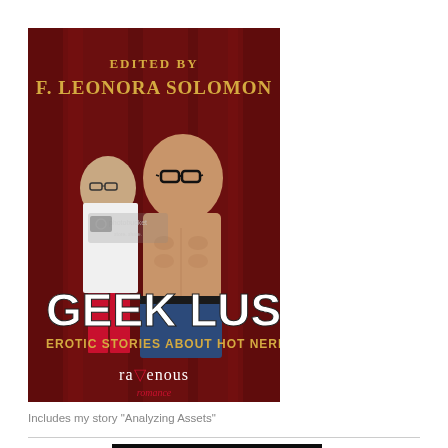[Figure (illustration): Book cover for 'Geek Lust: Erotic Stories About Hot Nerds' edited by F. Leonora Solomon. Published by Ravenous Romance. Features a shirtless man with glasses in the foreground and a woman in glasses and white shirt in the background against a red curtain.]
Includes my story "Analyzing Assets"
[Figure (photo): Partial dark image at the bottom of the page, appears to be another book cover or image, mostly black with a diagonal light streak.]